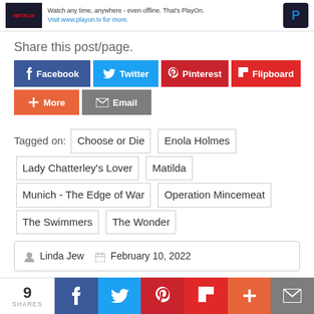[Figure (screenshot): Advertisement banner for PlayOn streaming service with Netflix image on left and PlayOn logo on right. Text reads: Watch any time, anywhere - even offline. That's PlayOn. Visit www.playon.tv for more.]
Share this post/page.
[Figure (infographic): Social share buttons: Facebook (dark blue), Twitter (light blue), Pinterest (dark red), Flipboard (red), More (orange-red), Email (gray)]
Tagged on: Choose or Die  Enola Holmes  Lady Chatterley's Lover  Matilda  Munich - The Edge of War  Operation Mincemeat  The Swimmers  The Wonder
Linda Jew  February 10, 2022
[Figure (infographic): Bottom social sharing bar with 9 SHARES count and icons for Facebook, Twitter, Pinterest, Flipboard, More, Email]